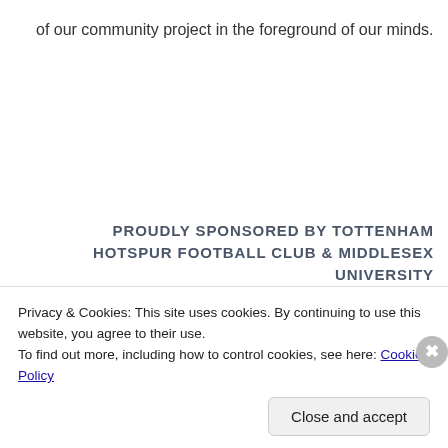of our community project in the foreground of our minds.
PROUDLY SPONSORED BY TOTTENHAM HOTSPUR FOOTBALL CLUB & MIDDLESEX UNIVERSITY
[Figure (logo): Tottenham Hotspur football club cockerel logo and Middlesex University red shield logo]
Privacy & Cookies: This site uses cookies. By continuing to use this website, you agree to their use.
To find out more, including how to control cookies, see here: Cookie Policy
Close and accept